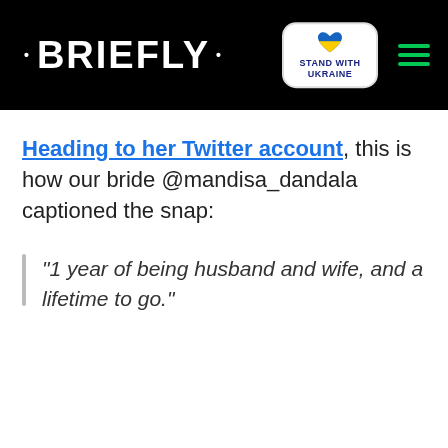· BRIEFLY · [Stand with Ukraine badge] [hamburger menu]
Heading to her Twitter account, this is how our bride @mandisa_dandala captioned the snap:
"1 year of being husband and wife, and a lifetime to go."